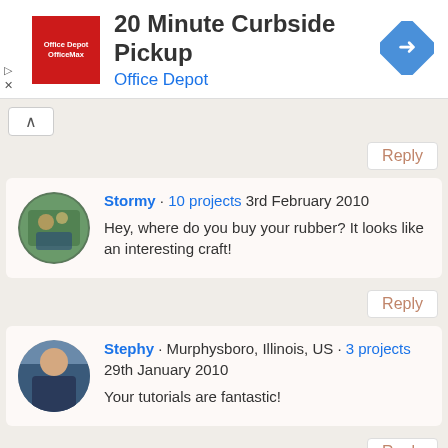[Figure (screenshot): Office Depot advertisement banner: red square logo with 'Office Depot / OfficeMax' text, heading '20 Minute Curbside Pickup', subtitle 'Office Depot', blue diamond arrow icon, and small ad control icons.]
Reply
Stormy · 10 projects 3rd February 2010
Hey, where do you buy your rubber? It looks like an interesting craft!
Reply
Stephy · Murphysboro, Illinois, US · 3 projects 29th January 2010
Your tutorials are fantastic!
Reply